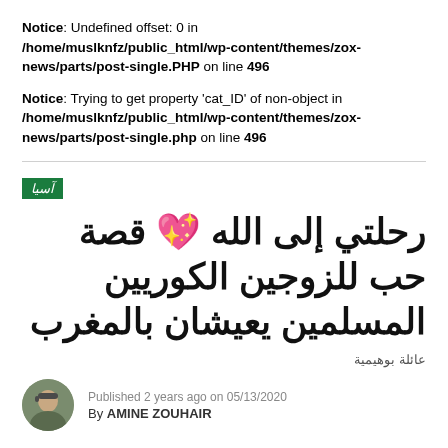Notice: Undefined offset: 0 in /home/muslknfz/public_html/wp-content/themes/zox-news/parts/post-single.PHP on line 496
Notice: Trying to get property 'cat_ID' of non-object in /home/muslknfz/public_html/wp-content/themes/zox-news/parts/post-single.php on line 496
آسيا
رحلتي إلى الله 💖 قصة حب للزوجين الكوريين المسلمين يعيشان بالمغرب
عائلة بوهيمية
Published 2 years ago on 05/13/2020
By AMINE ZOUHAIR